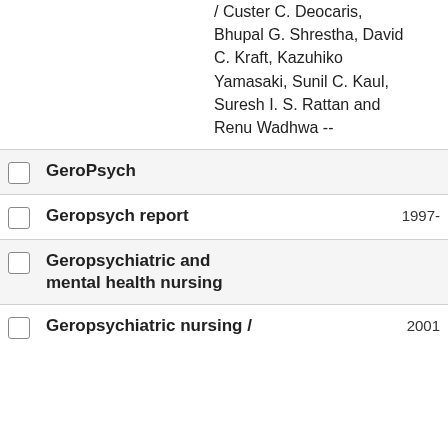/ Custer C. Deocaris, Bhupal G. Shrestha, David C. Kraft, Kazuhiko Yamasaki, Sunil C. Kaul, Suresh I. S. Rattan and Renu Wadhwa --
GeroPsych
Geropsych report	1997-
Geropsychiatric and mental health nursing
Geropsychiatric nursing /	2001